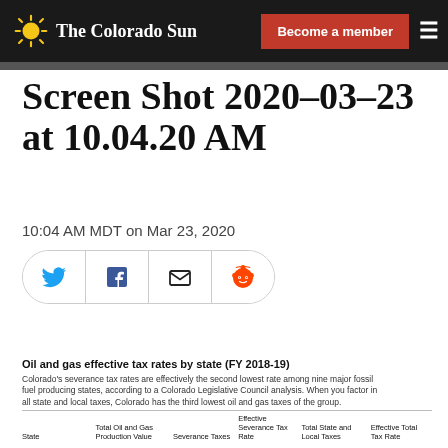The Colorado Sun | Become a member
Screen Shot 2020-03-23 at 10.04.20 AM
10:04 AM MDT on Mar 23, 2020
[Figure (other): Social sharing buttons: Twitter, Facebook, Email, Reddit]
Oil and gas effective tax rates by state (FY 2018-19)
Colorado's severance tax rates are effectively the second lowest rate among nine major fossil fuel producing states, according to a Colorado Legislative Council analysis. When you factor in all state and local taxes, Colorado has the third lowest oil and gas taxes of the group.
| State | Total Oil and Gas Production Value | Severance Taxes | Effective Severance Tax Rate | Total State and Local Taxes | Effective Total Tax Rate |
| --- | --- | --- | --- | --- | --- |